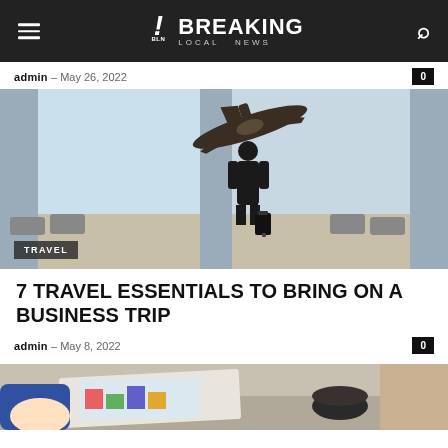BREAKING LOCAL NEWS
admin – May 26, 2022
[Figure (photo): Business traveler silhouette standing with luggage in airport terminal with large windows, airplane visible in sky outside. Category badge: TRAVEL.]
7 TRAVEL ESSENTIALS TO BRING ON A BUSINESS TRIP
admin – May 8, 2022
[Figure (photo): Partial view of people at a meeting table with documents and a coffee cup, cropped at bottom of page.]